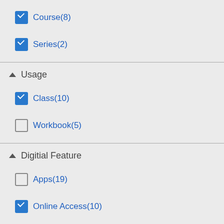Course(8)
Series(2)
▲ Usage
Class(10)
Workbook(5)
▲ Digitial Feature
Apps(19)
Online Access(10)